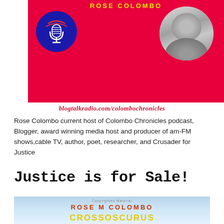[Figure (photo): Red banner with yellow text 'ROSE COLOMBO', a blue circle with microphone icon on the left, and a circular black-and-white headshot photo of a smiling woman on the right.]
blogtalkradio.com/colombochronicles
Rose Colombo current host of Colombo Chronicles podcast, Blogger, award winning media host and producer of am-FM shows,cable TV, author, poet, researcher, and Crusader for Justice
Justice is for Sale!
[Figure (photo): Book cover showing 'ROSE M COLOMBO' in red text and yellow title text below on a sky/clouds background, with watermark 'Copyrighted Material'.]